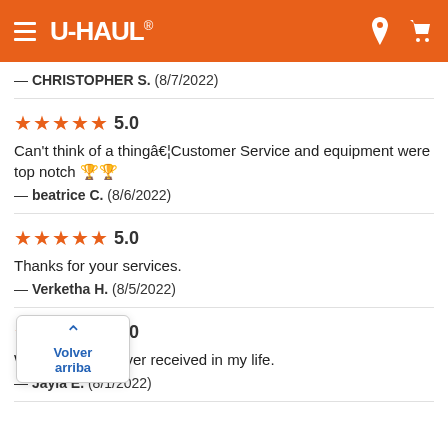U-HAUL® navigation header
— CHRISTOPHER S.  (8/7/2022)
★★★★★ 5.0
Can't think of a thing…Customer Service and equipment were top notch 🏆🏆
— beatrice C.  (8/6/2022)
★★★★★ 5.0
Thanks for your services.
— Verketha H.  (8/5/2022)
★☆☆☆☆ 1.0
Worst service I ever received in my life.
— Jayla E.  (8/1/2022)